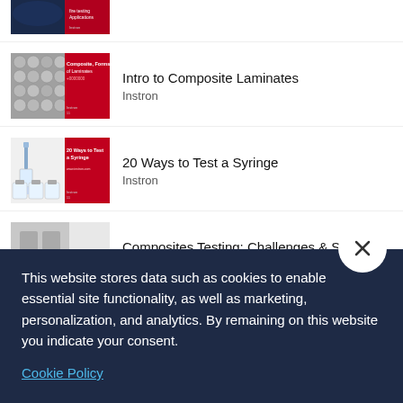[Figure (screenshot): Partially visible thumbnail of an Instron brochure cover (top of page, cut off)]
Intro to Composite Laminates
Instron
[Figure (screenshot): Thumbnail of Instron 'Intro to Composite Laminates' brochure cover with composite material imagery]
20 Ways to Test a Syringe
Instron
[Figure (screenshot): Thumbnail of Instron '20 Ways to Test a Syringe' brochure cover with syringes]
Composites Testing: Challenges & Solutions
Instron
[Figure (screenshot): Thumbnail of Instron 'Composites Testing: Challenges & Solutions' brochure cover]
This website stores data such as cookies to enable essential site functionality, as well as marketing, personalization, and analytics. By remaining on this website you indicate your consent.
Cookie Policy